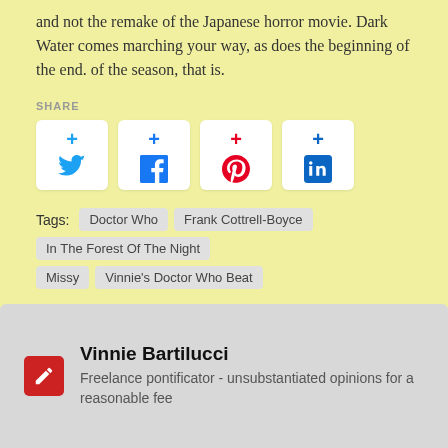and not the remake of the Japanese horror movie. Dark Water comes marching your way, as does the beginning of the end. of the season, that is.
SHARE
[Figure (infographic): Four social media share buttons arranged in a row: Twitter (blue bird), Facebook (blue f), Pinterest (red P), LinkedIn (blue in). Each has a white rounded square with a plus sign on top and the social media icon below.]
Tags: Doctor Who  Frank Cottrell-Boyce  In The Forest Of The Night  Missy  Vinnie's Doctor Who Beat
Vinnie Bartilucci
Freelance pontificator - unsubstantiated opinions for a reasonable fee